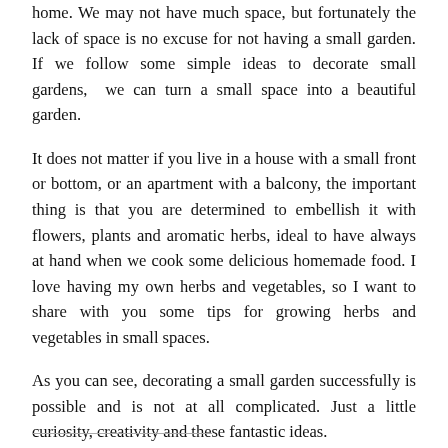home. We may not have much space, but fortunately the lack of space is no excuse for not having a small garden. If we follow some simple ideas to decorate small gardens, we can turn a small space into a beautiful garden.
It does not matter if you live in a house with a small front or bottom, or an apartment with a balcony, the important thing is that you are determined to embellish it with flowers, plants and aromatic herbs, ideal to have always at hand when we cook some delicious homemade food. I love having my own herbs and vegetables, so I want to share with you some tips for growing herbs and vegetables in small spaces.
As you can see, decorating a small garden successfully is possible and is not at all complicated. Just a little curiosity, creativity and these fantastic ideas.